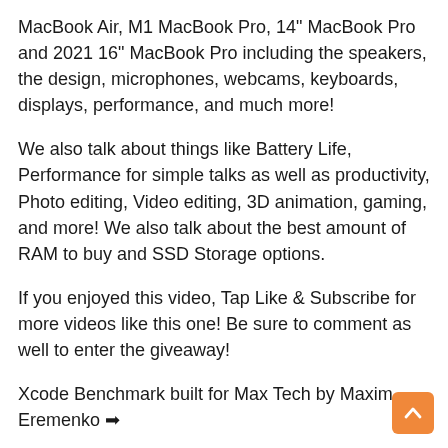MacBook Air, M1 MacBook Pro, 14" MacBook Pro and 2021 16" MacBook Pro including the speakers, the design, microphones, webcams, keyboards, displays, performance, and much more!
We also talk about things like Battery Life, Performance for simple talks as well as productivity, Photo editing, Video editing, 3D animation, gaming, and more! We also talk about the best amount of RAM to buy and SSD Storage options.
If you enjoyed this video, Tap Like & Subscribe for more videos like this one! Be sure to comment as well to enter the giveaway!
Xcode Benchmark built for Max Tech by Maxim Eremenko ➡
WeTest PerfDog is what we use to test FPS. Full mobile platform performance test and analysis tool: